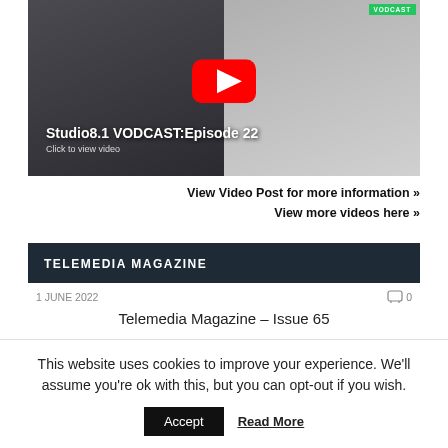[Figure (screenshot): Video thumbnail for Studio8.1 VODCAST Episode 22 showing two men, with a YouTube play button overlay and VODCAST badge in green top-right corner. Text overlay reads 'Studio8.1 VODCAST:Episode 22' and 'Click to view video'.]
View Video Post for more information »
View more videos here »
TELEMEDIA MAGAZINE
1 JUNE 2022
0
Telemedia Magazine – Issue 65
This website uses cookies to improve your experience. We'll assume you're ok with this, but you can opt-out if you wish.
Accept
Read More